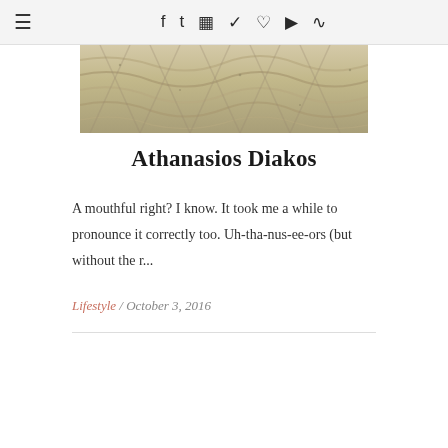☰ f t ☷ ℗ ♥ ▶ RSS
[Figure (photo): Close-up photo of a braided rope with a stone/gravel texture, beige and grey tones]
Athanasios Diakos
A mouthful right? I know. It took me a while to pronounce it correctly too. Uh-tha-nus-ee-ors (but without the r...
Lifestyle / October 3, 2016